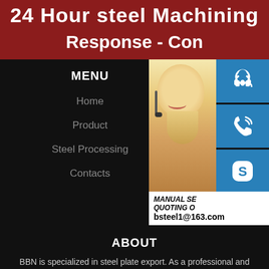24 Hour steel Machining
Response - Con...
MENU
Home
Product
Steel Processing
Contacts
[Figure (photo): Woman with headset (customer service representative) with blue contact icons showing headset, phone, and Skype symbols, and contact info box showing MANUAL SE..., QUOTING O..., bsteel1@163.com]
ABOUT
BBN is specialized in steel plate export. As a professional and reliable steel plate supplier, we have built cooperation with over 30 countries and regions, including USA, Europe, Saudi Arabia, Egypt, Bangladesh, Sri Lanka, Korea, Vietnam, Myanmar and so on.
For any steel plates we do not have in stock, we have developed relationships